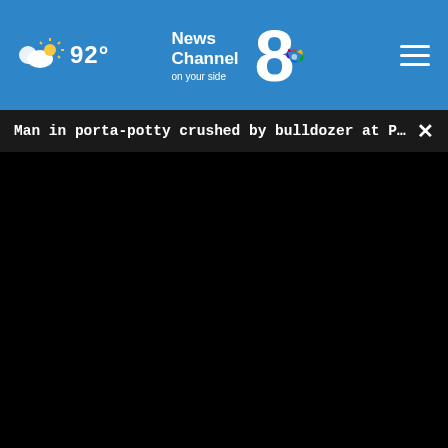News Channel 8 on your side — 92°
Man in porta-potty crushed by bulldozer at Polk C...
[Figure (screenshot): Black video player area with progress bar showing 00:00 and playback controls including play button, mute button, timestamp, captions button, and fullscreen button]
[Figure (screenshot): Ad banner for Petco Sterling showing OPEN 9AM-8PM and address 22000 Dulles Retail Plaza, #110, Sterling with navigation icon]